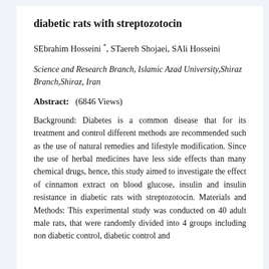diabetic rats with streptozotocin
SEbrahim Hosseini *, STaereh Shojaei, SAli Hosseini
Science and Research Branch, Islamic Azad University,Shiraz Branch,Shiraz, Iran
Abstract:   (6846 Views)
Background: Diabetes is a common disease that for its treatment and control different methods are recommended such as the use of natural remedies and lifestyle modification. Since the use of herbal medicines have less side effects than many chemical drugs, hence, this study aimed to investigate the effect of cinnamon extract on blood glucose, insulin and insulin resistance in diabetic rats with streptozotocin. Materials and Methods: This experimental study was conducted on 40 adult male rats, that were randomly divided into 4 groups including non diabetic control, diabetic control and